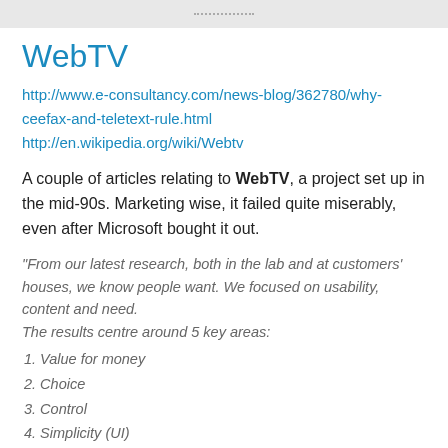WebTV
http://www.e-consultancy.com/news-blog/362780/why-ceefax-and-teletext-rule.html
http://en.wikipedia.org/wiki/Webtv
A couple of articles relating to WebTV, a project set up in the mid-90s. Marketing wise, it failed quite miserably, even after Microsoft bought it out.
"From our latest research, both in the lab and at customers' houses, we know people want. We focused on usability, content and need. The results centre around 5 key areas:
1. Value for money
2. Choice
3. Control
4. Simplicity (UI)
5. Convergence (one device)"
The digital set top box, one of technology's great products of this last...